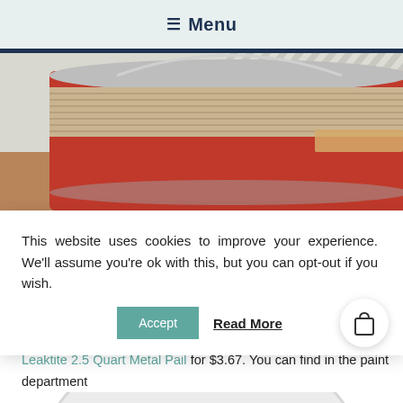☰ Menu
[Figure (photo): Close-up photo of a decorated metal paint pail with a red ribbon and burlap wrap, with a wire handle visible, on a wooden surface.]
This website uses cookies to improve your experience. We'll assume you're ok with this, but you can opt-out if you wish.
Accept | Read More
A cute little bucket – But not just any bucket. This is the Leaktite 2.5 Quart Metal Pail for $3.67. You can find in the paint department